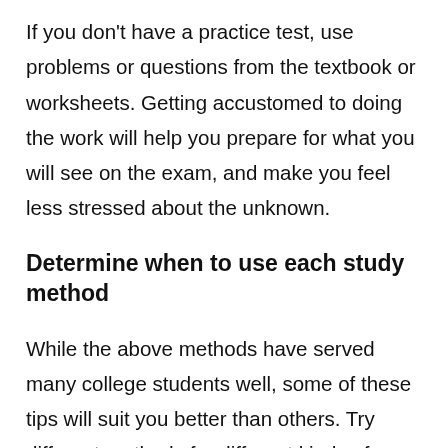If you don't have a practice test, use problems or questions from the textbook or worksheets. Getting accustomed to doing the work will help you prepare for what you will see on the exam, and make you feel less stressed about the unknown.
Determine when to use each study method
While the above methods have served many college students well, some of these tips will suit you better than others. Try different methods for different kinds of courses, as your approach to a science course will be quite different from your